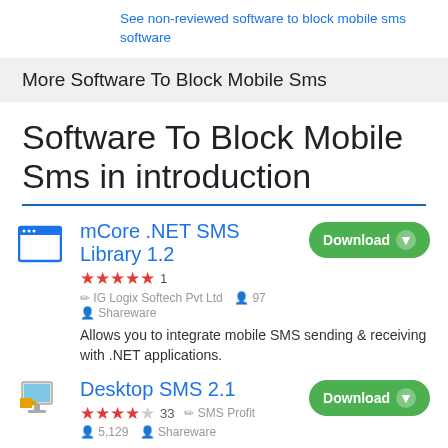See non-reviewed software to block mobile sms software
More Software To Block Mobile Sms
Software To Block Mobile Sms in introduction
mCore .NET SMS Library 1.2 — Rating: 5 stars, 1 review. IG Logix Softech Pvt Ltd, 97 users. Shareware. Allows you to integrate mobile SMS sending & receiving with .NET applications.
Desktop SMS 2.1 — Rating: 4 stars, 33 reviews. SMS Profit. 5,129 users. Shareware.